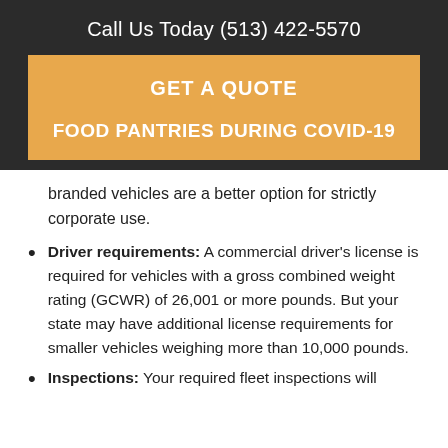Call Us Today (513) 422-5570
GET A QUOTE
FOOD PANTRIES DURING COVID-19
branded vehicles are a better option for strictly corporate use.
Driver requirements: A commercial driver's license is required for vehicles with a gross combined weight rating (GCWR) of 26,001 or more pounds. But your state may have additional license requirements for smaller vehicles weighing more than 10,000 pounds.
Inspections: Your required fleet inspections will